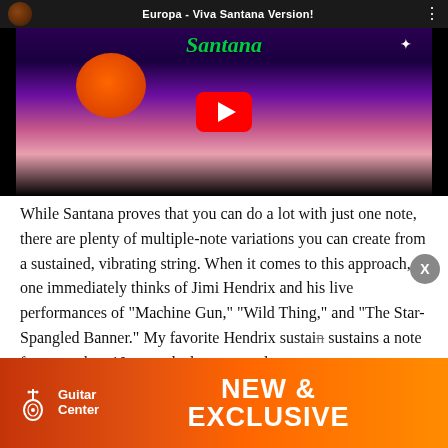[Figure (screenshot): YouTube video thumbnail for 'Europa - Viva Santana Version!' showing the Santana album artwork with a guitarist, orange sun, cosmic figures against a purple night sky, with red YouTube play button overlay.]
While Santana proves that you can do a lot with just one note, there are plenty of multiple-note variations you can create from a sustained, vibrating string. When it comes to this approach, one immediately thinks of Jimi Hendrix and his live performances of "Machine Gun," "Wild Thing," and "The Star-Spangled Banner." My favorite Hendrix sustain... Lang Syne" ...ed on New Ye... ...imi sustains a note for more than 10 seconds then proceeds
[Figure (screenshot): Guitar Center advertisement banner with orange/red gradient background showing Guitar Center logo on the left and 'NEW & EXCLUSIVE' text in large white bold letters on the right.]